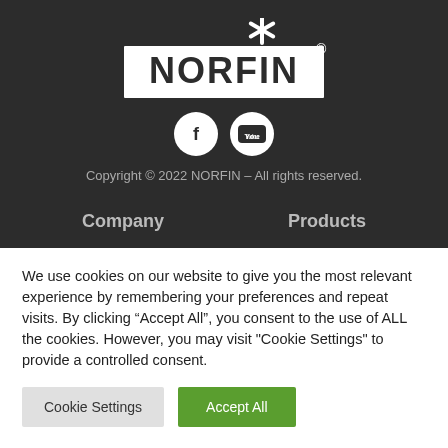[Figure (logo): NORFIN logo with asterisk symbol above text on dark background]
[Figure (infographic): Facebook and YouTube social media icons as white circles]
Copyright © 2022 NORFIN – All rights reserved.
Company
Products
We use cookies on our website to give you the most relevant experience by remembering your preferences and repeat visits. By clicking “Accept All”, you consent to the use of ALL the cookies. However, you may visit "Cookie Settings" to provide a controlled consent.
Cookie Settings
Accept All